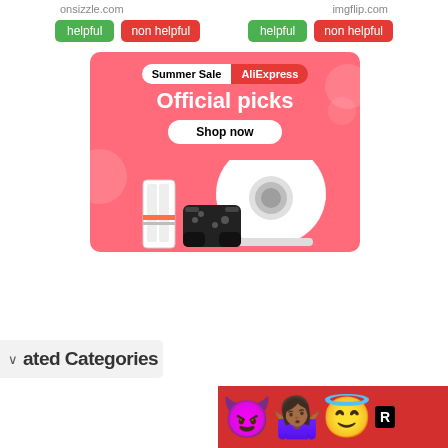onsizzle.com
imgflip.com
helpful  non helpful  helpful  non helpful
[Figure (advertisement): AliExpress Summer Sale banner ad with pink/coral background showing 'Summer Sale AliExpress' pill header, 'Official picks' large white text, 'Shop now' white button, and product images including a robot vacuum and gaming devices]
ated Categories
[Figure (infographic): Red banner with emoji characters: purple devil emoji, woman with hands up emoji (dark skin), angel/halo smiley emoji, and a black 'R' rating label]